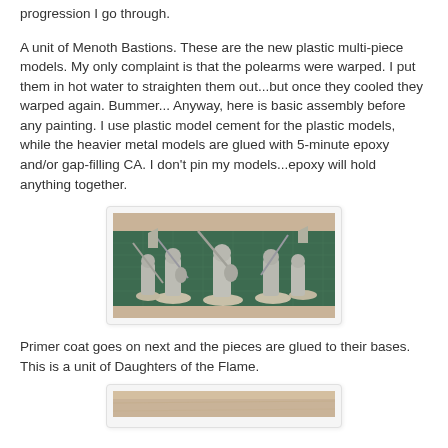progression I go through.
A unit of Menoth Bastions. These are the new plastic multi-piece models. My only complaint is that the polearms were warped. I put them in hot water to straighten them out...but once they cooled they warped again. Bummer... Anyway, here is basic assembly before any painting. I use plastic model cement for the plastic models, while the heavier metal models are glued with 5-minute epoxy and/or gap-filling CA. I don't pin my models...epoxy will hold anything together.
[Figure (photo): Photo of assembled Menoth Bastions miniatures on a green cutting mat, unpainted gray plastic models with polearms and shields]
Primer coat goes on next and the pieces are glued to their bases. This is a unit of Daughters of the Flame.
[Figure (photo): Partial view of miniatures on wooden surface, bottom of page cut off]